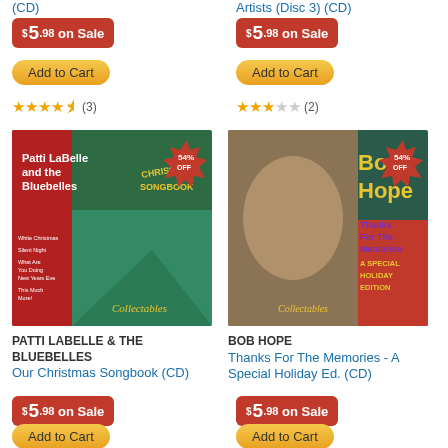(CD)
$5.98 on Sale
Add to Cart
★★★★½ (3)
Artists (Disc 3) (CD)
$5.98 on Sale
Add to Cart
★★★☆☆ (2)
[Figure (photo): Patti LaBelle and the Bluebelles Christmas Songbook CD cover with 54% OFF badge]
PATTI LABELLE & THE BLUEBELLES
Our Christmas Songbook (CD)
$5.98 on Sale
Add to Cart
[Figure (photo): Bob Hope Thanks For The Memories A Special Holiday Edition CD cover with 54% OFF badge]
BOB HOPE
Thanks For The Memories - A Special Holiday Ed. (CD)
$5.98 on Sale
Add to Cart